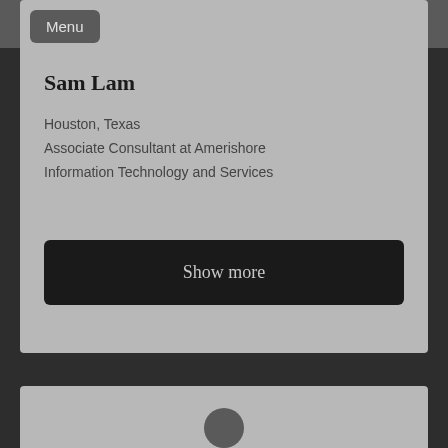Menu
Sam Lam
Houston, Texas
Associate Consultant at Amerishore
Information Technology and Services
Show more